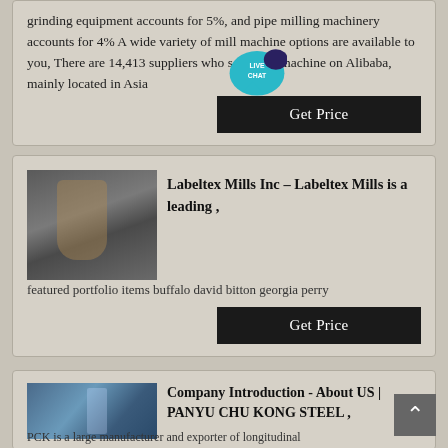grinding equipment accounts for 5%, and pipe milling machinery accounts for 4% A wide variety of mill machine options are available to you, There are 14,413 suppliers who sells mill machine on Alibaba, mainly located in Asia
[Figure (photo): Industrial mill machinery equipment photo]
Labeltex Mills Inc – Labeltex Mills is a leading ,
featured portfolio items buffalo david bitton georgia perry
[Figure (photo): Steel manufacturing facility photo]
Company Introduction - About US | PANYU CHU KONG STEEL ,
PCK is a large manufacturer and exporter of longitudinal